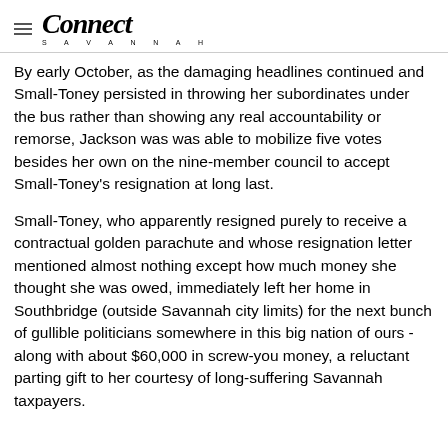Connect Savannah
By early October, as the damaging headlines continued and Small-Toney persisted in throwing her subordinates under the bus rather than showing any real accountability or remorse, Jackson was was able to mobilize five votes besides her own on the nine-member council to accept Small-Toney's resignation at long last.
Small-Toney, who apparently resigned purely to receive a contractual golden parachute and whose resignation letter mentioned almost nothing except how much money she thought she was owed, immediately left her home in Southbridge (outside Savannah city limits) for the next bunch of gullible politicians somewhere in this big nation of ours - along with about $60,000 in screw-you money, a reluctant parting gift to her courtesy of long-suffering Savannah taxpayers.